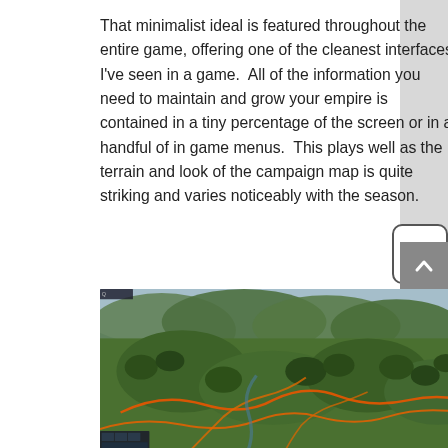That minimalist ideal is featured throughout the entire game, offering one of the cleanest interfaces I've seen in a game.  All of the information you need to maintain and grow your empire is contained in a tiny percentage of the screen or in a handful of in game menus.  This plays well as the terrain and look of the campaign map is quite striking and varies noticeably with the season.
[Figure (screenshot): Screenshot of a strategy game showing a campaign map with green terrain, hills, trees, rivers with orange/red road/border markings, and a small UI panel in the bottom-left corner.]